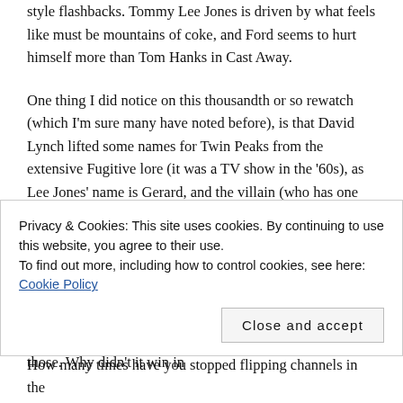style flashbacks. Tommy Lee Jones is driven by what feels like must be mountains of coke, and Ford seems to hurt himself more than Tom Hanks in Cast Away.
One thing I did notice on this thousandth or so rewatch (which I'm sure many have noted before), is that David Lynch lifted some names for Twin Peaks from the extensive Fugitive lore (it was a TV show in the '60s), as Lee Jones' name is Gerard, and the villain (who has one arm) is named Freddie Sykes (the dude with the strange green fist in 'The Return'). Why is that important? Because I'm a fucking nerd, that's why.
Anyway, this movie rules. You know it, I know it, the world knows it. No one dislikes this film — it's one of those. Why didn't it win in
Privacy & Cookies: This site uses cookies. By continuing to use this website, you agree to their use.
To find out more, including how to control cookies, see here: Cookie Policy
How many times have you stopped flipping channels in the